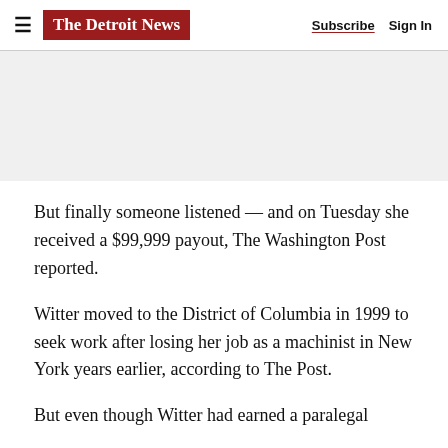The Detroit News — Subscribe  Sign In
[Figure (other): Advertisement gray placeholder area]
But finally someone listened — and on Tuesday she received a $99,999 payout, The Washington Post reported.
Witter moved to the District of Columbia in 1999 to seek work after losing her job as a machinist in New York years earlier, according to The Post.
But even though Witter had earned a paralegal